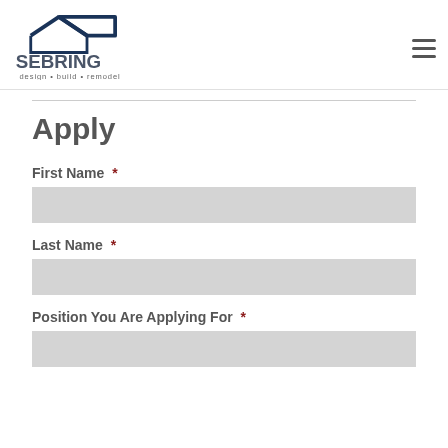[Figure (logo): Sebring design build remodel logo with house icon in dark navy blue and gray text]
Apply
First Name *
Last Name *
Position You Are Applying For *